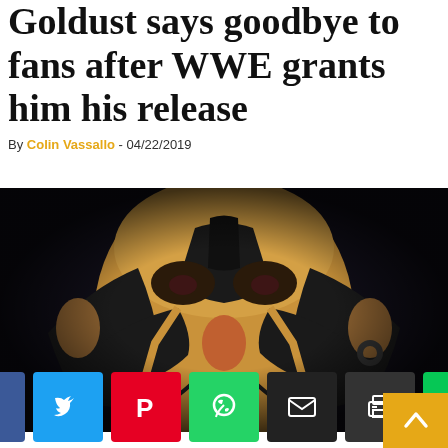Goldust says goodbye to fans after WWE grants him his release
By Colin Vassallo - 04/22/2019
[Figure (photo): Close-up of Goldust/Dustin Rhodes with black and gold face paint, looking downward with dramatic lighting]
Social share buttons: Facebook, Twitter, Pinterest, WhatsApp, Email, Print, LINE